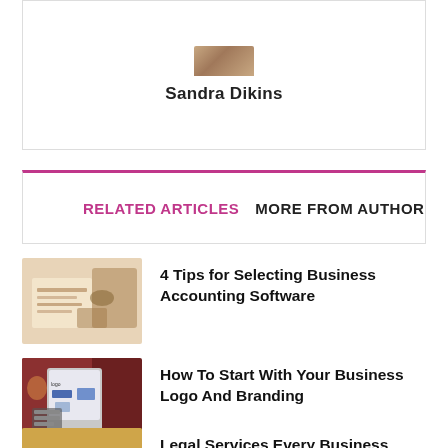Sandra Dikins
RELATED ARTICLES   MORE FROM AUTHOR
[Figure (photo): Person using accounting software on a tablet with documents]
4 Tips for Selecting Business Accounting Software
[Figure (photo): Person at a computer with a logo branding display]
How To Start With Your Business Logo And Branding
[Figure (photo): Business handshake with legal books and scales]
Legal Services Every Business Needs